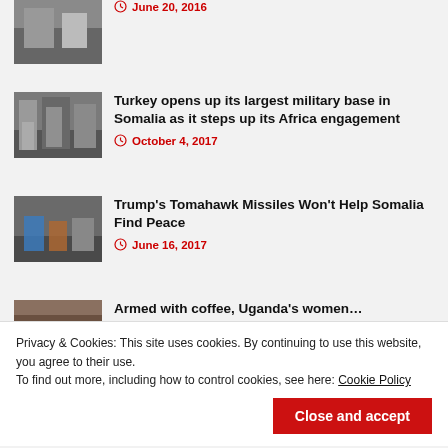[Figure (photo): Thumbnail image for lung damage payouts article]
June 20, 2016
[Figure (photo): Turkey military base in Somalia - officials cutting ribbon ceremony]
Turkey opens up its largest military base in Somalia as it steps up its Africa engagement
October 4, 2017
[Figure (photo): People working on ground, Tomahawk missiles Somalia article]
Trump's Tomahawk Missiles Won't Help Somalia Find Peace
June 16, 2017
[Figure (photo): Partial thumbnail for Armed with coffee Uganda's women article]
Armed with coffee, Uganda's women…
April 7, 2017
Privacy & Cookies: This site uses cookies. By continuing to use this website, you agree to their use.
To find out more, including how to control cookies, see here: Cookie Policy
Close and accept